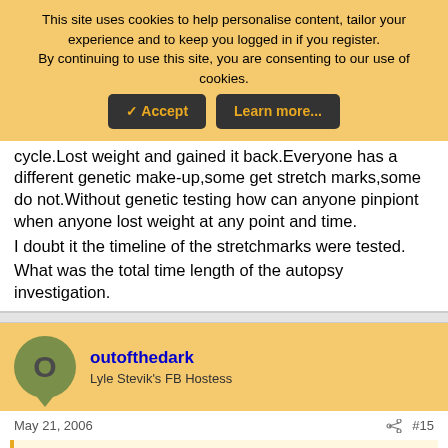This site uses cookies to help personalise content, tailor your experience and to keep you logged in if you register. By continuing to use this site, you are consenting to our use of cookies.
✓ Accept | Learn more...
cycle.Lost weight and gained it back.Everyone has a different genetic make-up,some get stretch marks,some do not.Without genetic testing how can anyone pinpiont when anyone lost weight at any point and time.
I doubt it the timeline of the stretchmarks were tested.
What was the total time length of the autopsy investigation.
outofthedark
Lyle Stevik's FB Hostess
May 21, 2006
#15
dark_shadows said: